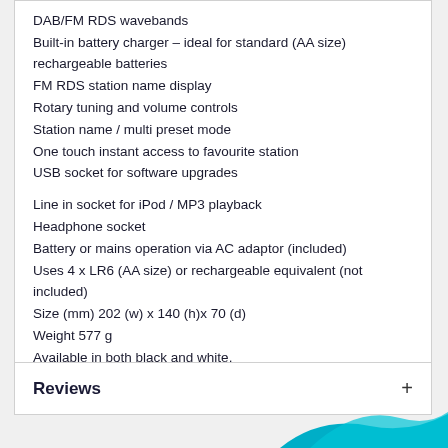DAB/FM RDS wavebands
Built-in battery charger – ideal for standard (AA size) rechargeable batteries
FM RDS station name display
Rotary tuning and volume controls
Station name / multi preset mode
One touch instant access to favourite station
USB socket for software upgrades
Line in socket for iPod / MP3 playback
Headphone socket
Battery or mains operation via AC adaptor (included)
Uses 4 x LR6 (AA size) or rechargeable equivalent (not included)
Size (mm) 202 (w) x 140 (h)x 70 (d)
Weight 577 g
Available in both black and white.
Reviews